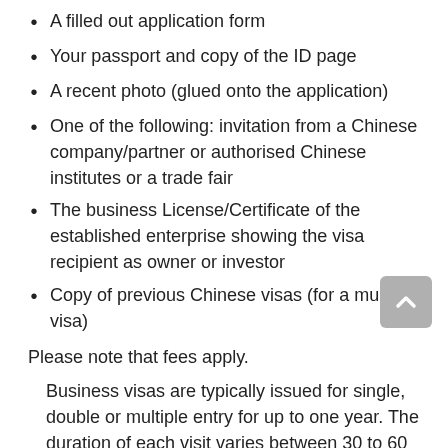A filled out application form
Your passport and copy of the ID page
A recent photo (glued onto the application)
One of the following: invitation from a Chinese company/partner or authorised Chinese institutes or a trade fair
The business License/Certificate of the established enterprise showing the visa recipient as owner or investor
Copy of previous Chinese visas (for a multiple visa)
Please note that fees apply.
Business visas are typically issued for single, double or multiple entry for up to one year. The duration of each visit varies between 30 to 60 days.